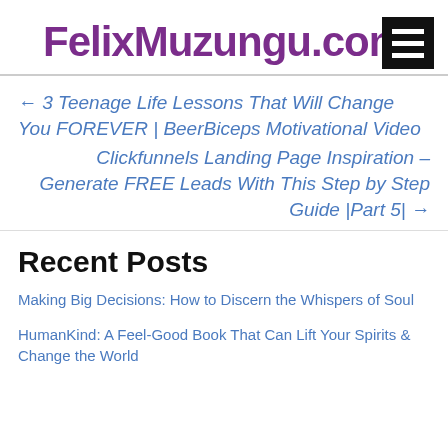FelixMuzungu.com
← 3 Teenage Life Lessons That Will Change You FOREVER | BeerBiceps Motivational Video
Clickfunnels Landing Page Inspiration – Generate FREE Leads With This Step by Step Guide |Part 5| →
Recent Posts
Making Big Decisions: How to Discern the Whispers of Soul
HumanKind: A Feel-Good Book That Can Lift Your Spirits & Change the World